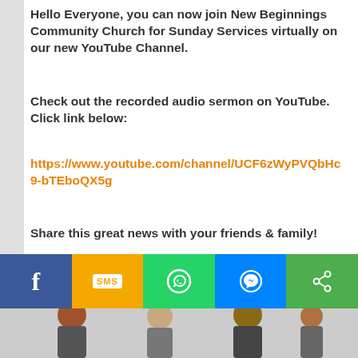Hello Everyone, you can now join New Beginnings Community Church for Sunday Services virtually on our new YouTube Channel.
Check out the recorded audio sermon on YouTube. Click link below:
https://www.youtube.com/channel/UCF6zWyPVQbHc9-bTEboQX5g
Share this great news with your friends & family!
Please subscribe to the new YouTube Channel so you can view current and past sermons, etc.
[Figure (infographic): Social sharing bar with five buttons: Facebook (blue), SMS (yellow/orange), WhatsApp (green), Messenger (blue), and generic share (green)]
[Figure (photo): Partial image of people at the bottom of the page]